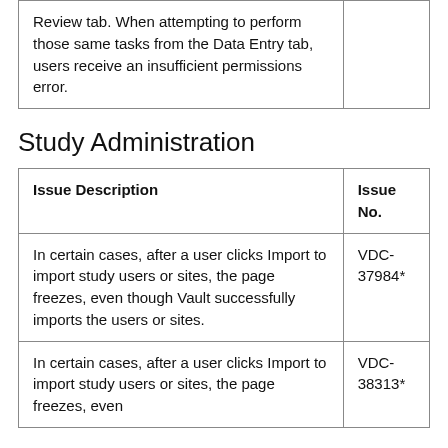| Issue Description | Issue No. |
| --- | --- |
| Review tab. When attempting to perform those same tasks from the Data Entry tab, users receive an insufficient permissions error. |  |
Study Administration
| Issue Description | Issue No. |
| --- | --- |
| In certain cases, after a user clicks Import to import study users or sites, the page freezes, even though Vault successfully imports the users or sites. | VDC-37984* |
| In certain cases, after a user clicks Import to import study users or sites, the page freezes, even | VDC-38313* |